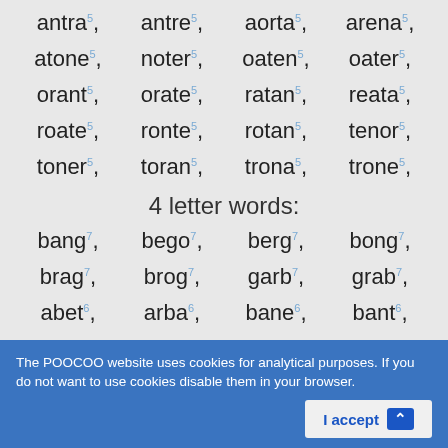antra 5, antre 5, aorta 5, arena 5,
atone 5, noter 5, oaten 5, oater 5,
orant 5, orate 5, ratan 5, reata 5,
roate 5, ronte 5, rotan 5, tenor 5,
toner 5, toran 5, trona 5, trone 5,
4 letter words:
bang 7, bego 7, berg 7, bong 7,
brag 7, brog 7, garb 7, grab 7,
abet 6, arba 6, bane 6, bant 6,
bear, beat, bent, beta,
The POOCOO website uses cookies for analytical purposes. If you do not want to use cookies disable them in your browser.